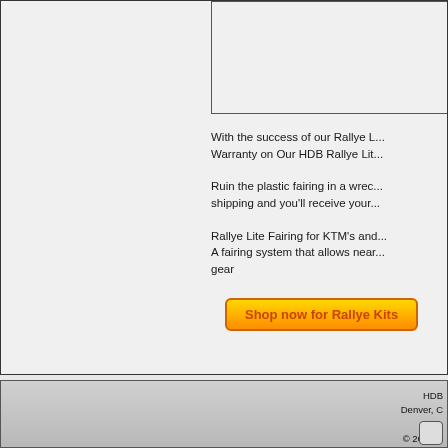[Figure (photo): Partial image box visible in upper right area of main section]
With the success of our Rallye L... Warranty on Our HDB Rallye Lit...
Ruin the plastic fairing in a wrec... shipping and you'll receive your...
Rallye Lite Fairing for KTM's and... A fairing system that allows near... gear
Shop now for Rallye Kits
HDB
Denver, C
Unit
© 2022 H
All rights res